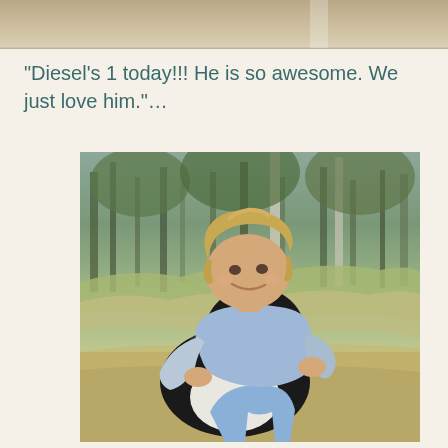[Figure (photo): Top strip of a photo showing blurred background — sandy/beige tones, partial crop of an outdoor scene]
“Diesel’s 1 today!!! He is so awesome. We just love him.”…
[Figure (photo): A smiling boy with short blonde hair wearing a blue long-sleeve shirt and blue shorts, leaning over and hugging a large black and white fluffy dog (Bernedoodle or similar breed) with its tongue out, in an outdoor wooded setting with green and yellow grass and trees in the background.]